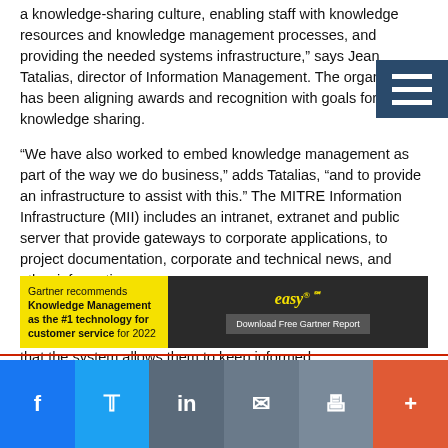a knowledge-sharing culture, enabling staff with knowledge resources and knowledge management processes, and providing the needed systems infrastructure,” says Jean Tatalias, director of Information Management. The organization has been aligning awards and recognition with goals for knowledge sharing.
“We have also worked to embed knowledge management as part of the way we do business,” adds Tatalias, “and to provide an infrastructure to assist with this.” The MITRE Information Infrastructure (MII) includes an intranet, extranet and public server that provide gateways to corporate applications, to project documentation, corporate and technical news, and other information.
Built on the collaborative environment at MITRE, RAMP also supports it. Employees at various site offices have commented that the system allows them to keep informed
[Figure (other): Advertisement banner: Gartner recommends Knowledge Management as the #1 technology for customer service for 2022. Easy logo on dark background with Download Free Gartner Report button.]
Social sharing bar with Facebook, Twitter, LinkedIn, Email, Print, and Plus icons